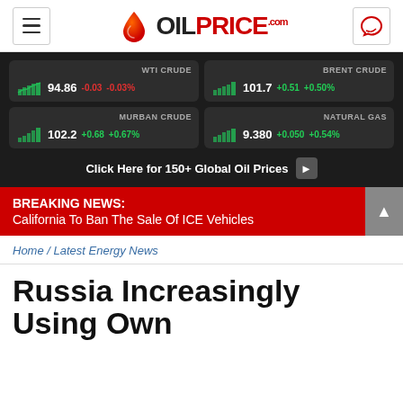OILPrice.com
[Figure (infographic): Oil price ticker panel showing WTI Crude 94.86 -0.03 -0.03%, Brent Crude 101.7 +0.51 +0.50%, Murban Crude 102.2 +0.68 +0.67%, Natural Gas 9.380 +0.050 +0.54%, with mini bar charts and a 'Click Here for 150+ Global Oil Prices' button]
BREAKING NEWS: California To Ban The Sale Of ICE Vehicles
Home / Latest Energy News
Russia Increasingly Using Own